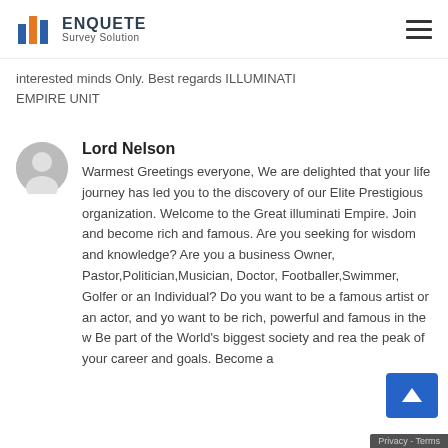ENQUETE Survey Solution
interested minds Only. Best regards ILLUMINATI EMPIRE UNIT
Lord Nelson
Warmest Greetings everyone, We are delighted that your life journey has led you to the discovery of our Elite Prestigious organization. Welcome to the Great illuminati Empire. Join and become rich and famous. Are you seeking for wisdom and knowledge? Are you a business Owner, Pastor,Politician,Musician, Doctor, Footballer,Swimmer, Golfer or an Individual? Do you want to be a famous artist or an actor, and you want to be rich, powerful and famous in the w... Be part of the World's biggest society and rea... the peak of your career and goals. Become a